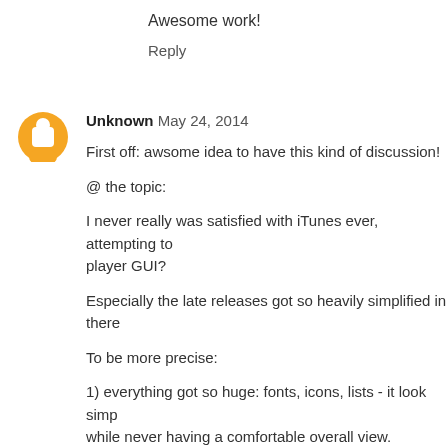Awesome work!
Reply
Unknown  May 24, 2014
First off: awsome idea to have this kind of discussion!
@ the topic:
I never really was satisfied with iTunes ever, attempting to player GUI?
Especially the late releases got so heavily simplified in there
To be more precise:
1) everything got so huge: fonts, icons, lists - it look simp while never having a comfortable overall view.
2) Almost no configuration left to the user anymore: use it I'd highly like to adopt fontsize to my screen requirements t was reason why this was the initial GUI concept back then,